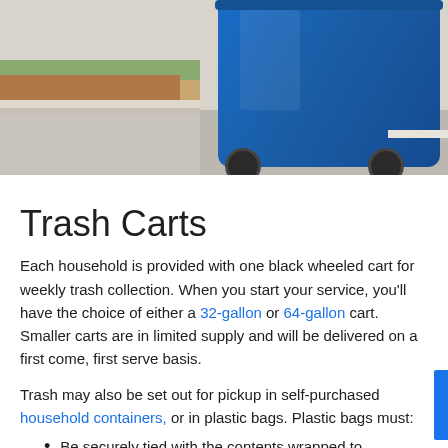[Figure (photo): Blue wheeled trash cart on a sidewalk/curb, outdoor residential setting with dirt and pavement visible]
Trash Carts
Each household is provided with one black wheeled cart for weekly trash collection. When you start your service, you'll have the choice of either a 32-gallon or 64-gallon cart. Smaller carts are in limited supply and will be delivered on a first come, first serve basis.
Trash may also be set out for pickup in self-purchased household containers, or in plastic bags. Plastic bags must:
Be securely tied with the contents wrapped to